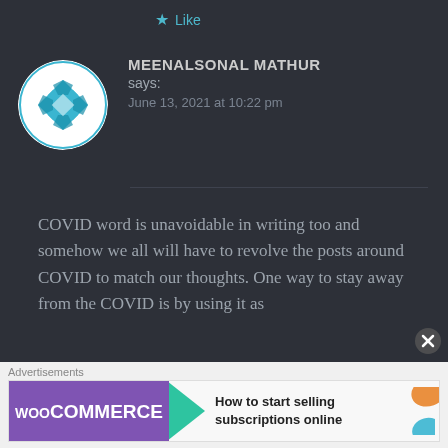Like
MEENALSONAL MATHUR says:
June 13, 2021 at 10:22 pm
COVID word is unavoidable in writing too and somehow we all will have to revolve the posts around COVID to match our thoughts. One way to stay away from the COVID is by using it as
[Figure (logo): WooCommerce advertisement banner with green arrow and orange decorative elements, text: How to start selling subscriptions online]
Advertisements